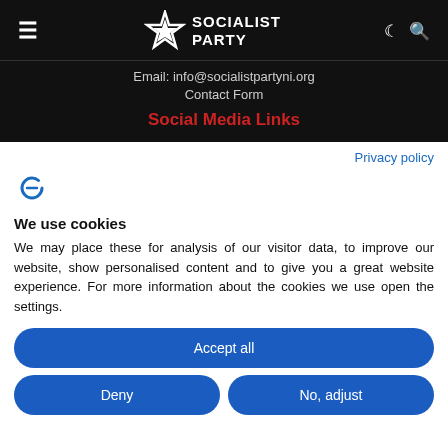SOCIALIST PARTY
Email: info@socialistpartyni.org
Contact Form
Social Media Links
Privacy policy
[Figure (logo): Cookie consent icon (stylized C with currency symbol in blue)]
We use cookies
We may place these for analysis of our visitor data, to improve our website, show personalised content and to give you a great website experience. For more information about the cookies we use open the settings.
Accept all
Deny
No, adjust